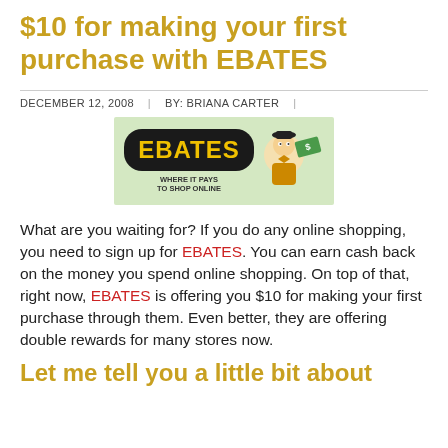$10 for making your first purchase with EBATES
DECEMBER 12, 2008  |  BY: BRIANA CARTER  |
[Figure (logo): EBATES logo banner with cartoon character holding money, tagline: WHERE IT PAYS TO SHOP ONLINE]
What are you waiting for? If you do any online shopping, you need to sign up for EBATES. You can earn cash back on the money you spend online shopping. On top of that, right now, EBATES is offering you $10 for making your first purchase through them. Even better, they are offering double rewards for many stores now.
Let me tell you a little bit about